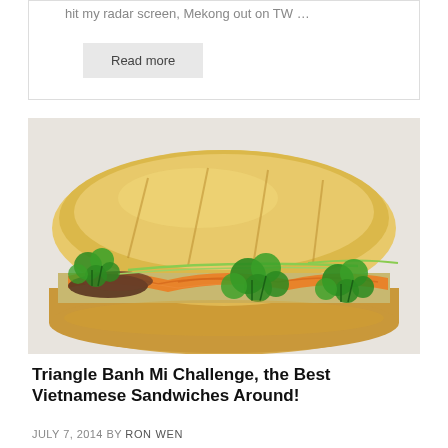hit my radar screen, Mekong out on TW …
Read more
[Figure (photo): A banh mi Vietnamese sandwich with a crusty baguette roll filled with shredded carrots, cilantro leaves, green cucumber slivers, and dark meat, served on a white paper wrapper.]
Triangle Banh Mi Challenge, the Best Vietnamese Sandwiches Around!
JULY 7, 2014 BY RON WEN